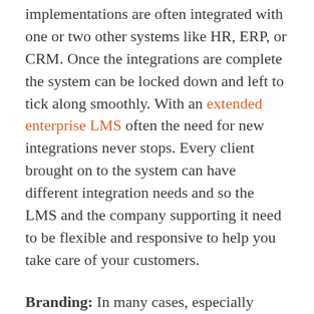implementations are often integrated with one or two other systems like HR, ERP, or CRM. Once the integrations are complete the system can be locked down and left to tick along smoothly. With an extended enterprise LMS often the need for new integrations never stops. Every client brought on to the system can have different integration needs and so the LMS and the company supporting it need to be flexible and responsive to help you take care of your customers.
Branding: In many cases, especially those where you are selling to corporate customers, you will need to have